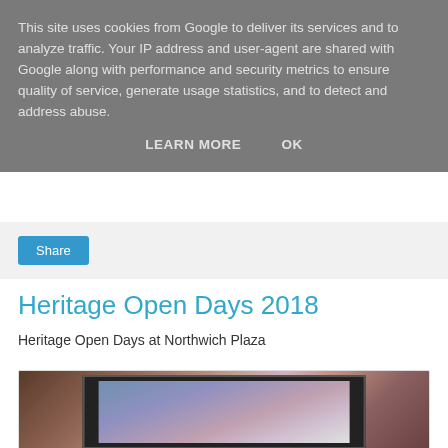This site uses cookies from Google to deliver its services and to analyze traffic. Your IP address and user-agent are shared with Google along with performance and security metrics to ensure quality of service, generate usage statistics, and to detect and address abuse.
LEARN MORE   OK
[Figure (screenshot): Share button on a light grey bar]
Heritage Open Days 2018
Heritage Open Days at Northwich Plaza
[Figure (photo): Photo of a framed picture/poster on display, appears to be in an interior setting with wooden paneling. The poster seems to show an underwater or animal scene.]